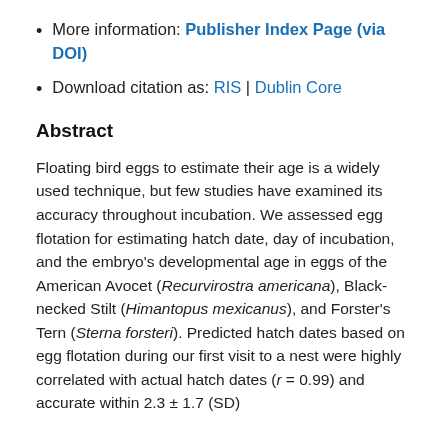More information: Publisher Index Page (via DOI)
Download citation as: RIS | Dublin Core
Abstract
Floating bird eggs to estimate their age is a widely used technique, but few studies have examined its accuracy throughout incubation. We assessed egg flotation for estimating hatch date, day of incubation, and the embryo's developmental age in eggs of the American Avocet (Recurvirostra americana), Black-necked Stilt (Himantopus mexicanus), and Forster's Tern (Sterna forsteri). Predicted hatch dates based on egg flotation during our first visit to a nest were highly correlated with actual hatch dates (r = 0.99) and accurate within 2.3 ± 1.7 (SD)